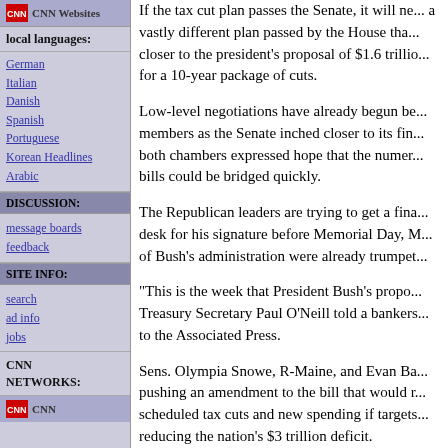[Figure (logo): CNN Websites logo/icon with text]
local languages:
German
Italian
Danish
Spanish
Portuguese
Korean Headlines
Arabic
DISCUSSION:
message boards
feedback
SITE INFO:
search
ad info
jobs
CNN NETWORKS:
[Figure (logo): CNN logo icon]
If the tax cut plan passes the Senate, it will ne... a vastly different plan passed by the House tha... closer to the president's proposal of $1.6 trillio... for a 10-year package of cuts.
Low-level negotiations have already begun be... members as the Senate inched closer to its fin... both chambers expressed hope that the numer... bills could be bridged quickly.
The Republican leaders are trying to get a fina... desk for his signature before Memorial Day, M... of Bush's administration were already trumpet...
"This is the week that President Bush's propo... Treasury Secretary Paul O'Neill told a bankers... to the Associated Press.
Sens. Olympia Snowe, R-Maine, and Evan Ba... pushing an amendment to the bill that would r... scheduled tax cuts and new spending if targets... reducing the nation's $3 trillion deficit.
Their amendment is one of the many that will... through of the Senate's b... reducing the d...